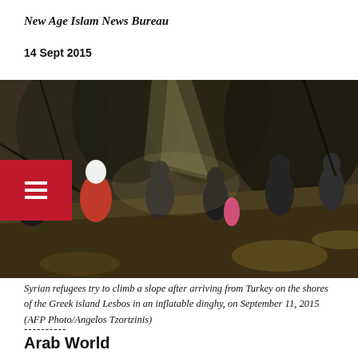New Age Islam News Bureau
14 Sept 2015
[Figure (photo): Syrian refugees trying to climb a slope after arriving from Turkey on the shores of the Greek island Lesbos in an inflatable dinghy, on September 11, 2015. People are seen moving through a wooded hillside in dark clothing, some wearing headscarves. AFP Photo/Angelos Tzortzinis.]
Syrian refugees try to climb a slope after arriving from Turkey on the shores of the Greek island Lesbos in an inflatable dinghy, on September 11, 2015 (AFP Photo/Angelos Tzortzinis)
----------
Arab World